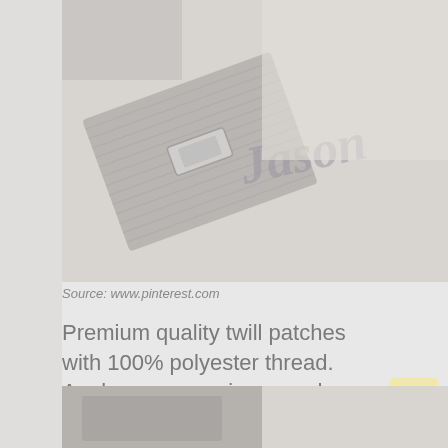[Figure (photo): A close-up photo of what appears to be embroidered twill patches on fabric, with 'Jason' written in Old English gothic script visible on white material, along with what looks like a hook or clip accessory.]
Source: www.pinterest.com
Premium quality twill patches with 100% polyester thread. Apply or remove in seconds, completely hassle free!
[Figure (photo): Partial view of another product image at the bottom of the page, cropped.]